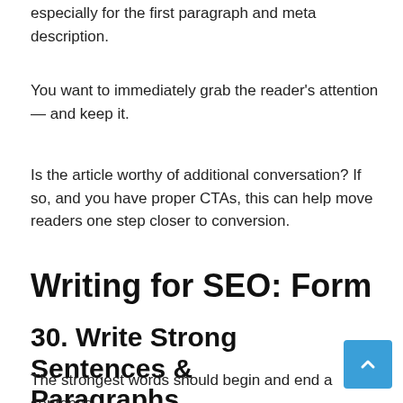especially for the first paragraph and meta description.
You want to immediately grab the reader's attention — and keep it.
Is the article worthy of additional conversation? If so, and you have proper CTAs, this can help move readers one step closer to conversion.
Writing for SEO: Form
30. Write Strong Sentences & Paragraphs
The strongest words should begin and end a sentence.